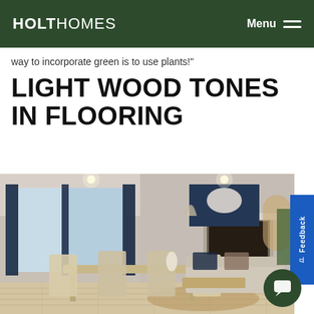HOLT HOMES   Menu ≡
way to incorporate green is to use plants!"
LIGHT WOOD TONES IN FLOORING
[Figure (photo): Interior living room photo showing light wood tone flooring, dining table with chairs in foreground, sofa and fireplace in background, navy curtains, and a horse painting on the wall.]